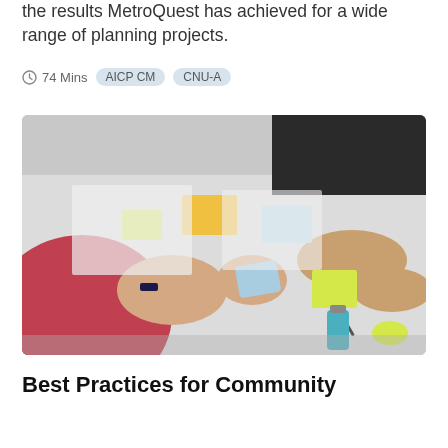the results MetroQuest has achieved for a wide range of planning projects.
74 Mins  AICP CM  CNU-A
[Figure (photo): People sitting around a table working with sticky notes and papers, hands visible holding a small card]
Best Practices for Community